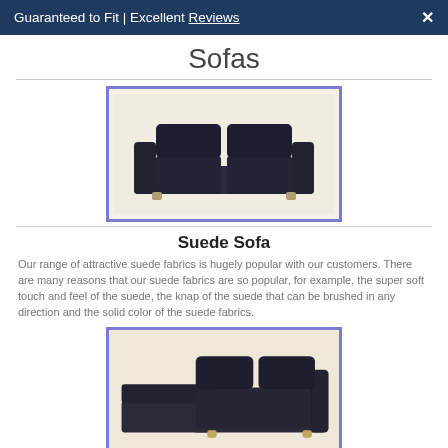Guaranteed to Fit | Excellent Reviews ✕
Sofas
[Figure (photo): Dark navy suede loveseat sofa with two seat cushions and two back cushions, photographed against a light background, displayed inside a purple-bordered frame.]
Suede Sofa
Our range of attractive suede fabrics is hugely popular with our customers. There are many reasons that our suede fabrics are so popular, for example, the super soft touch and feel of the suede, the knap of the suede that can be brushed in any direction and the solid color of the suede fabrics.
[Figure (photo): Dark charcoal suede sectional sofa with chaise lounge, two back cushions, photographed against a light background inside a purple-bordered frame.]